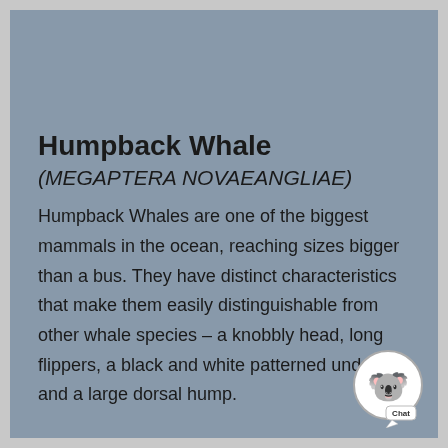Humpback Whale
(MEGAPTERA NOVAEANGLIAE)
Humpback Whales are one of the biggest mammals in the ocean, reaching sizes bigger than a bus. They have distinct characteristics that make them easily distinguishable from other whale species – a knobbly head, long flippers, a black and white patterned under and a large dorsal hump.
[Figure (illustration): Koala emoji chat badge with 'Chat' label in bottom right corner]